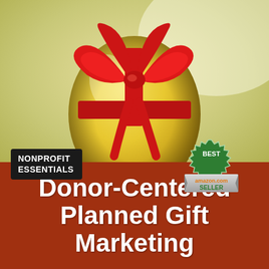[Figure (photo): Book cover showing a golden egg wrapped with a red ribbon bow on a yellow background. Includes a 'Nonprofit Essentials' dark badge in lower left and an Amazon Best Seller badge in lower right of the image area.]
Donor-Centered Planned Gift Marketing